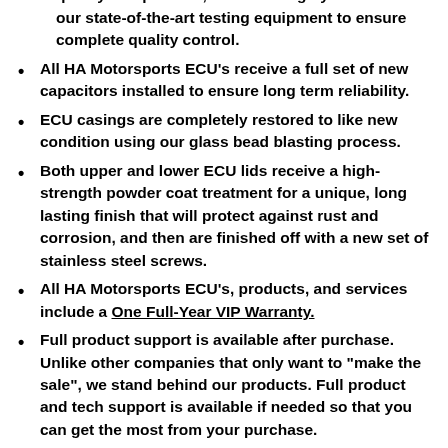and modified right here in our facility using our quality components, then thoroughly tested on our state-of-the-art testing equipment to ensure complete quality control.
All HA Motorsports ECU's receive a full set of new capacitors installed to ensure long term reliability.
ECU casings are completely restored to like new condition using our glass bead blasting process.
Both upper and lower ECU lids receive a high-strength powder coat treatment for a unique, long lasting finish that will protect against rust and corrosion, and then are finished off with a new set of stainless steel screws.
All HA Motorsports ECU's, products, and services include a One Full-Year VIP Warranty.
Full product support is available after purchase. Unlike other companies that only want to "make the sale", we stand behind our products. Full product and tech support is available if needed so that you can get the most from your purchase.